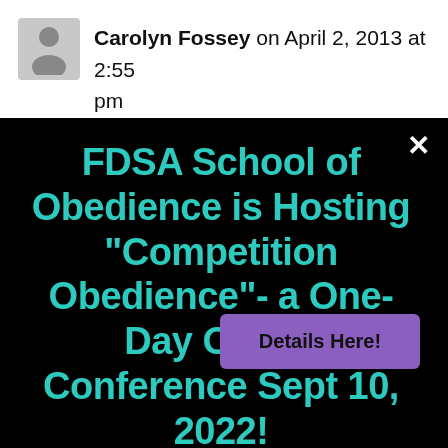Carolyn Fossey on April 2, 2013 at 2:55 pm
[Figure (screenshot): Black modal/popup with teal text reading 'FDSA School of Obedience is Hosting "Competition Obedience"- a One-Day Online Conference Sept 10, 2022!' with a purple 'Details Here!' button and white X close button]
Details Here!